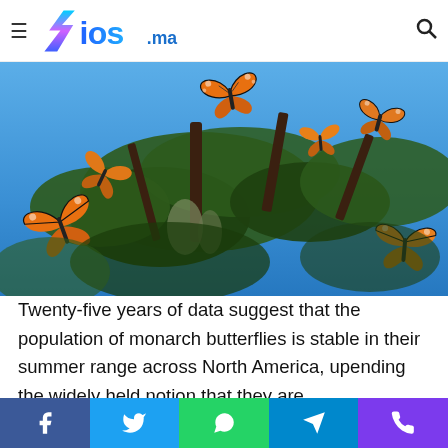ios.ma — navigation header with logo and search icon
[Figure (photo): Monarch butterflies perched and flying on pine/juniper tree branches against a bright blue sky. Multiple orange-and-black monarch butterflies visible in flight and resting on green conifer branches.]
Twenty-five years of data suggest that the population of monarch butterflies is stable in their summer range across North America, upending the widely held notion that they are
Social share buttons: Facebook, Twitter, WhatsApp, Telegram, Phone